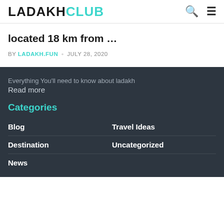LADAKHCLUB
located 18 km from …
BY LADAKH.FUN  JULY 28, 2020
Everything You'll need to know about ladakh
Read more
Categories
Blog
Travel Ideas
Destination
Uncategorized
News